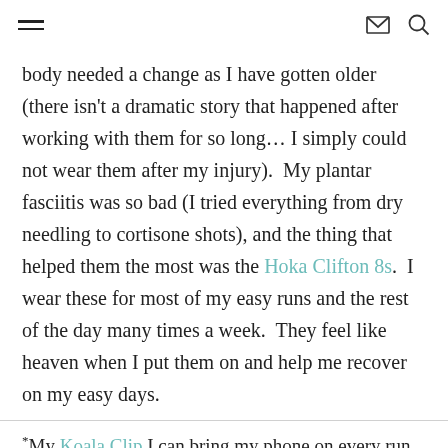≡  ✉  🔍
body needed a change as I have gotten older (there isn't a dramatic story that happened after working with them for so long… I simply could not wear them after my injury).  My plantar fasciitis was so bad (I tried everything from dry needling to cortisone shots), and the thing that helped them the most was the Hoka Clifton 8s.  I wear these for most of my easy runs and the rest of the day many times a week.  They feel like heaven when I put them on and help me recover on my easy days.
*My [Koala Clip] I can bring my phone on every run and